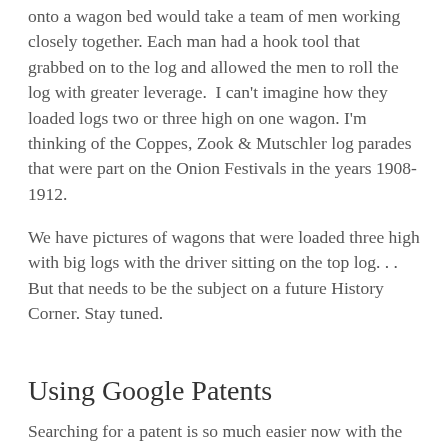onto a wagon bed would take a team of men working closely together. Each man had a hook tool that grabbed on to the log and allowed the men to roll the log with greater leverage.  I can't imagine how they loaded logs two or three high on one wagon. I'm thinking of the Coppes, Zook & Mutschler log parades that were part on the Onion Festivals in the years 1908-1912.
We have pictures of wagons that were loaded three high with big logs with the driver sitting on the top log. . .  But that needs to be the subject on a future History Corner. Stay tuned.
Using Google Patents
Searching for a patent is so much easier now with the Internet. We used to have to go to regional libraries and